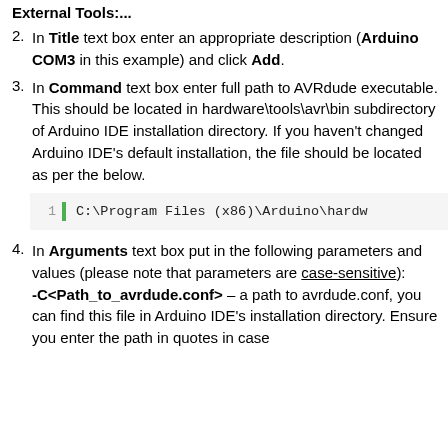External Tools....
2. In Title text box enter an appropriate description (Arduino COM3 in this example) and click Add.
3. In Command text box enter full path to AVRdude executable. This should be located in hardware\tools\avr\bin subdirectory of Arduino IDE installation directory. If you haven't changed Arduino IDE's default installation, the file should be located as per the below.
1   C:\Program Files (x86)\Arduino\hardw
4. In Arguments text box put in the following parameters and values (please note that parameters are case-sensitive): -C<Path_to_avrdude.conf> – a path to avrdude.conf, you can find this file in Arduino IDE's installation directory. Ensure you enter the path in quotes in case